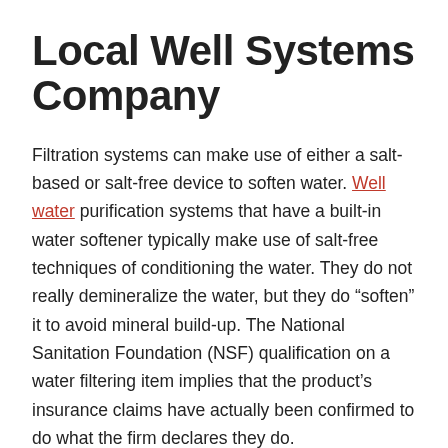Local Well Systems Company
Filtration systems can make use of either a salt-based or salt-free device to soften water. Well water purification systems that have a built-in water softener typically make use of salt-free techniques of conditioning the water. They do not really demineralize the water, but they do “soften” it to avoid mineral build-up. The National Sanitation Foundation (NSF) qualification on a water filtering item implies that the product’s insurance claims have actually been confirmed to do what the firm declares they do.